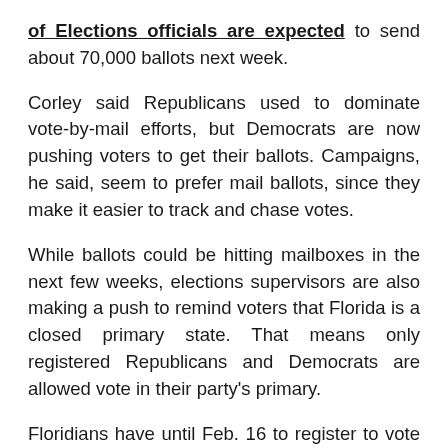of Elections officials are expected to send about 70,000 ballots next week.
Corley said Republicans used to dominate vote-by-mail efforts, but Democrats are now pushing voters to get their ballots. Campaigns, he said, seem to prefer mail ballots, since they make it easier to track and chase votes.
While ballots could be hitting mailboxes in the next few weeks, elections supervisors are also making a push to remind voters that Florida is a closed primary state. That means only registered Republicans and Democrats are allowed vote in their party's primary.
Floridians have until Feb. 16 to register to vote in the March 15 presidential primary. That's